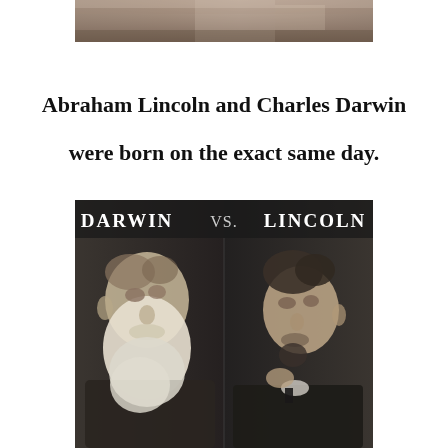[Figure (photo): Partial top portion of a photograph, showing the upper edge of what appears to be a historical photo, cropped at the bottom.]
Abraham Lincoln and Charles Darwin were born on the exact same day.
[Figure (photo): Black and white composite photo showing Darwin on the left and Lincoln on the right, facing each other, with text 'Darwin vs. Lincoln' at the top.]